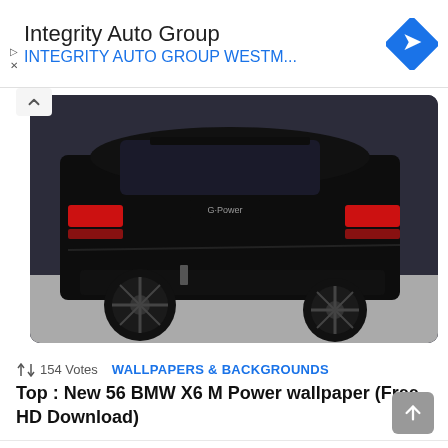[Figure (screenshot): Advertisement banner for Integrity Auto Group with blue navigation arrow diamond icon]
[Figure (photo): Dark black BMW X6 M Power SUV photographed from rear three-quarter angle in a parking area, with G-Power branding visible]
154 Votes   WALLPAPERS & BACKGROUNDS
Top : New 56 BMW X6 M Power wallpaper (Free HD Download)
+154